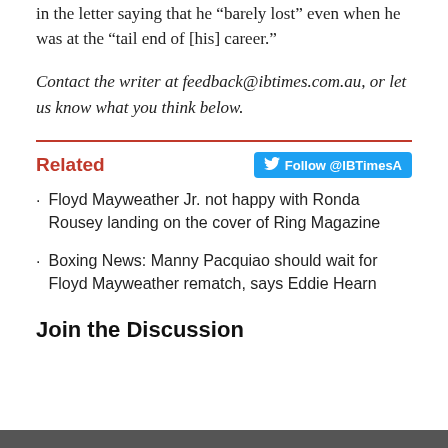in the letter saying that he “barely lost” even when he was at the “tail end of [his] career.”
Contact the writer at feedback@ibtimes.com.au, or let us know what you think below.
Related
Floyd Mayweather Jr. not happy with Ronda Rousey landing on the cover of Ring Magazine
Boxing News: Manny Pacquiao should wait for Floyd Mayweather rematch, says Eddie Hearn
Join the Discussion